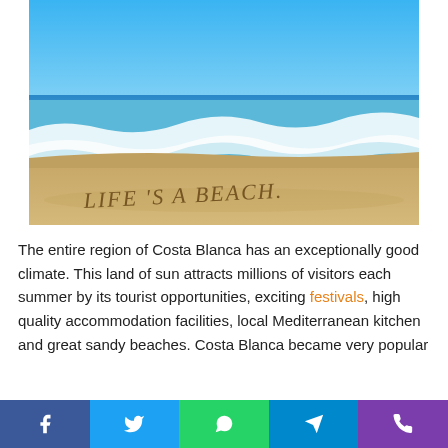[Figure (photo): Beach photo showing ocean waves, blue sky, and sandy beach with 'LIFE'S A BEACH' written in the sand]
The entire region of Costa Blanca has an exceptionally good climate. This land of sun attracts millions of visitors each summer by its tourist opportunities, exciting festivals, high quality accommodation facilities, local Mediterranean kitchen and great sandy beaches. Costa Blanca became very popular